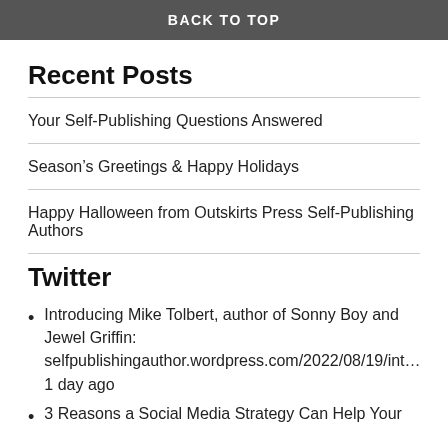BACK TO TOP
Recent Posts
Your Self-Publishing Questions Answered
Season's Greetings & Happy Holidays
Happy Halloween from Outskirts Press Self-Publishing Authors
Twitter
Introducing Mike Tolbert, author of Sonny Boy and Jewel Griffin: selfpublishingauthor.wordpress.com/2022/08/19/int… 1 day ago
3 Reasons a Social Media Strategy Can Help Your